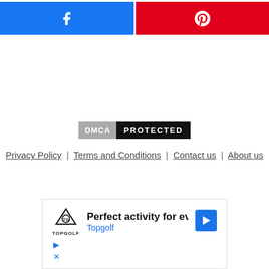[Figure (other): Two social sharing buttons side by side: Facebook (blue) and Pinterest (red/crimson)]
[Figure (logo): DMCA Protected badge with grey DMCA label and black PROTECTED label]
Privacy Policy | Terms and Conditions | Contact us | About us
[Figure (other): Advertisement for Topgolf showing logo, text 'Perfect activity for everyone', 'Topgolf', and navigation arrow]